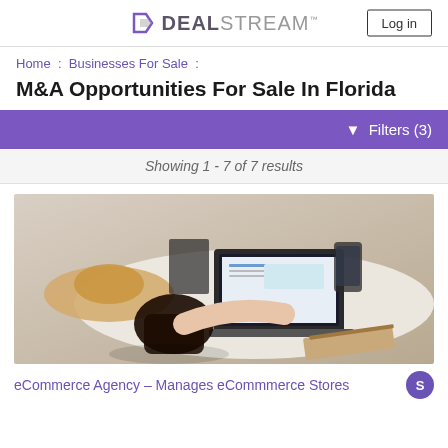DEALSTREAM™  Log in
Home :  Businesses For Sale :
M&A Opportunities For Sale In Florida
▾  Filters (3)
Showing 1 - 7 of 7 results
[Figure (photo): Overhead view of a woman with dark hair and a straw hat sitting at a desk, typing on a laptop, with an open book and notebook visible]
eCommerce Agency – Manages eCommmerce Stores  S